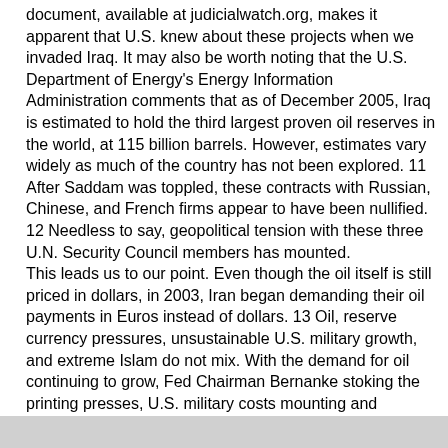document, available at judicialwatch.org, makes it apparent that U.S. knew about these projects when we invaded Iraq. It may also be worth noting that the U.S. Department of Energy's Energy Information Administration comments that as of December 2005, Iraq is estimated to hold the third largest proven oil reserves in the world, at 115 billion barrels. However, estimates vary widely as much of the country has not been explored. 11
After Saddam was toppled, these contracts with Russian, Chinese, and French firms appear to have been nullified. 12 Needless to say, geopolitical tension with these three U.N. Security Council members has mounted.
This leads us to our point. Even though the oil itself is still priced in dollars, in 2003, Iran began demanding their oil payments in Euros instead of dollars. 13 Oil, reserve currency pressures, unsustainable U.S. military growth, and extreme Islam do not mix. With the demand for oil continuing to grow, Fed Chairman Bernanke stoking the printing presses, U.S. military costs mounting and extreme Islam raging, we must remain wa"